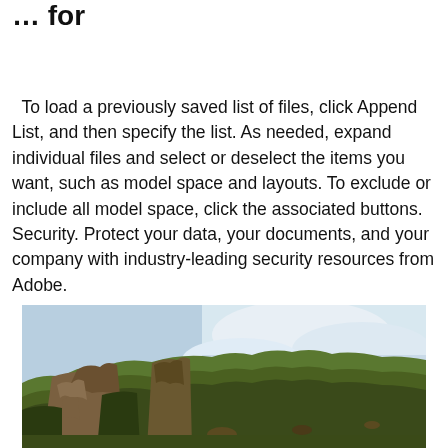… for
To load a previously saved list of files, click Append List, and then specify the list. As needed, expand individual files and select or deselect the items you want, such as model space and layouts. To exclude or include all model space, click the associated buttons. Security. Protect your data, your documents, and your company with industry-leading security resources from Adobe.
[Figure (photo): Photograph of a dramatic green cliff edge with rocky formations in the foreground and a cloudy sky in the background, appearing to be a coastal or highland landscape.]